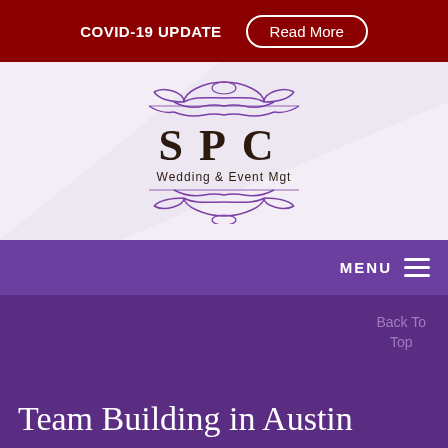COVID-19 UPDATE   Read More
[Figure (logo): SPC Wedding & Event Mgt logo with ornate purple decorative flourishes above and below the text]
MENU
Back To Top
Team Building in Austin
Have you been looking for a creative way to provide your employees with a memorable team-building